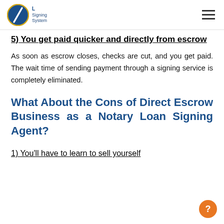Loan Signing System
5) You get paid quicker and directly from escrow
As soon as escrow closes, checks are cut, and you get paid. The wait time of sending payment through a signing service is completely eliminated.
What About the Cons of Direct Escrow Business as a Notary Loan Signing Agent?
1) You'll have to learn to sell yourself